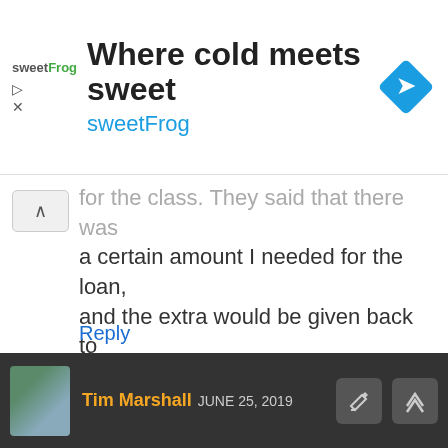[Figure (screenshot): SweetFrog advertisement banner with logo, title 'Where cold meets sweet', subtitle 'sweetFrog', and diamond navigation icon]
for the class. They said that there was a certain amount I needed for the loan, and the extra would be given back to me or put twords another class. Neither of these things happened and I never saw any of the extra money. I got my associates in co.outer science, but never saw anyone for job placement. Would I be able to file for the dishonest things that where done? I was on school around 2011 2012
Reply
Tim Marshall JUNE 25, 2019